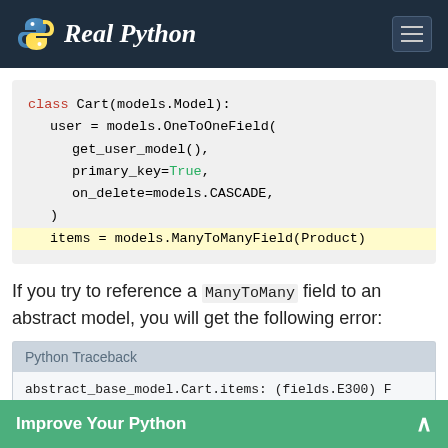Real Python
[Figure (screenshot): Code block showing Python class Cart with models.Model, user = models.OneToOneField(...), items = models.ManyToManyField(Product) highlighted]
If you try to reference a ManyToMany field to an abstract model, you will get the following error:
Python Traceback
abstract_base_model.Cart.items: (fields.E300) F
Improve Your Python